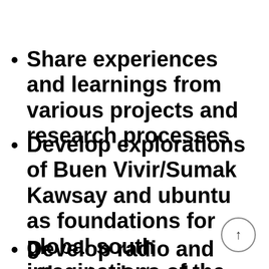Share experiences and learnings from various projects and research processes
Develop explorations of Buen Vivir/Sumak Kawsay and ubuntu as foundations for global south imaginations of the commons
Develop radio and other tools to share knowledges emerging out of